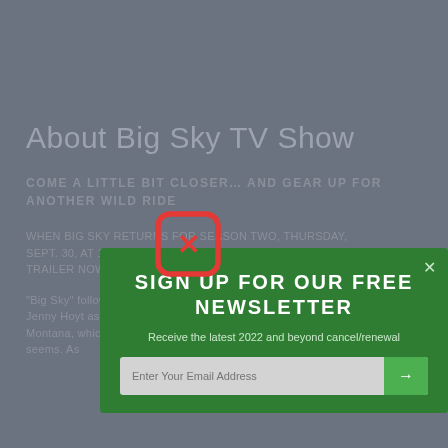About Big Sky TV Show
COME A LITTLE BIT CLOSER… AND GEAR UP FOR ANOTHER WILD RIDE
WHEN BIG SKY RETURNS FOR SEASON TWO, THURSDAY, SEPT. 30, AT 10/9c ON ABC SEASON TWO EXTENDED TRAILER NOW
[Figure (screenshot): Red close button icon with X inside a rounded rectangle border]
[Figure (screenshot): Newsletter signup modal popup with green background. Title: SIGN UP FOR OUR FREE NEWSLETTER. Description: Receive the latest 2022 and beyond cancel/renewal. Email input field with arrow button.]
"Big Sky" follows the unlikely pairing of private detective Cassie Dewell and Jenny Hoyt as they reunite to investigate a car wreck outside of Helena, Montana, which they soon discover may not be a straightforward case as it seems. As